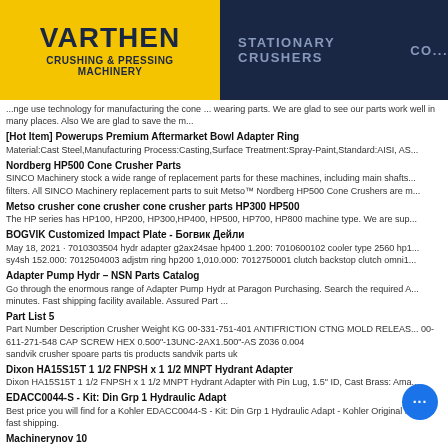VARTHEN CRUSHING & PRESSING MACHINERY | STATIONARY CRUSHERS | CO...
...nge use technology for manufacturing the cone ... wearing parts. We are glad to see our parts work well in many places. Also We are glad to save the m...
[Hot Item] Powerups Premium Aftermarket Bowl Adapter Ring
Material:Cast Steel,Manufacturing Process:Casting,Surface Treatment:Spray-Paint,Standard:AISI, AS...
Nordberg HP500 Cone Crusher Parts
SINCO Machinery stock a wide range of replacement parts for these machines, including main shafts... filters. All SINCO Machinery replacement parts to suit Metso™ Nordberg HP500 Cone Crushers are m...
Metso crusher cone crusher cone crusher parts HP300 HP500
The HP series has HP100, HP200, HP300,HP400, HP500, HP700, HP800 machine type. We are sup...
BOGVIK Customized Impact Plate - Богвик Дейли
May 18, 2021 · 7010303504 hydr adapter g2ax24sae hp400 1.200: 7010600102 cooler type 2560 hp1... sy4sh 152.000: 7012504003 adjstm ring hp200 1,010.000: 7012750001 clutch backstop clutch omni1...
Adapter Pump Hydr – NSN Parts Catalog
Go through the enormous range of Adapter Pump Hydr at Paragon Purchasing. Search the required A... minutes. Fast shipping facility available. Assured Part ...
Part List 5
Part Number Description Crusher Weight KG 00-331-751-401 ANTIFRICTION CTNG MOLD RELEAS... 00-611-271-548 CAP SCREW HEX 0.500"-13UNC-2AX1.500"-AS Z036 0.004
sandvik crusher spoare parts tis products sandvik parts uk
Dixon HA15S15T 1 1/2 FNPSH x 1 1/2 MNPT Hydrant Adapter
Dixon HA15S15T 1 1/2 FNPSH x 1 1/2 MNPT Hydrant Adapter with Pin Lug, 1.5" ID, Cast Brass: Ama...
EDACC0044-S - Kit: Din Grp 1 Hydraulic Adapt
Best price you will find for a Kohler EDACC0044-S - Kit: Din Grp 1 Hydraulic Adapt - Kohler Original P... and fast shipping.
Machinerynov 10
MACHINERYNOV-10 - Free download as PDF File (.pdf), Text File (.txt) or read online for f...
Ceramic Insert for grinding rollers - Богвик Дейли
418323 HYDR ADAPTER M50X1,5-M50X1,5 G-SERIES G11FINE 1.700. 418373 STR... ER... high manganese and chrome chinese cone crusher spare bush LT1100 GAS SPRING 1... 50-... feedback
Parts List 5-Parts List-HO-Casting